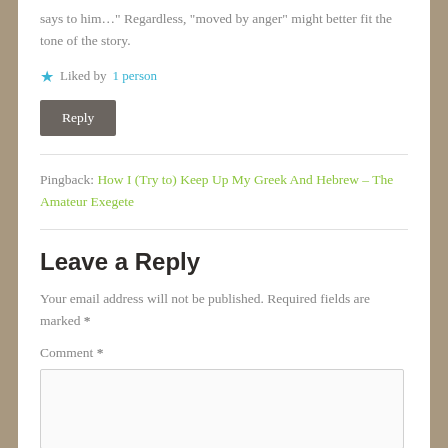says to him…" Regardless, "moved by anger" might better fit the tone of the story.
★ Liked by 1 person
Reply
Pingback: How I (Try to) Keep Up My Greek And Hebrew – The Amateur Exegete
Leave a Reply
Your email address will not be published. Required fields are marked *
Comment *